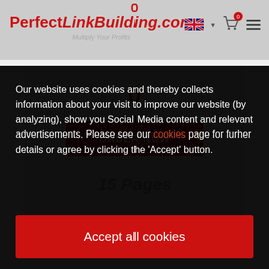[Figure (screenshot): PerfectLinkBuilding.com website header with logo, UK flag, cart icon showing 0, and hamburger menu]
0
0
ORDER NOW
15 Pages
Our website uses cookies and thereby collects information about your visit to improve our website (by analyzing), show you Social Media content and relevant advertisements. Please see our cookies page for furher details or agree by clicking the 'Accept' button.
Accept all cookies